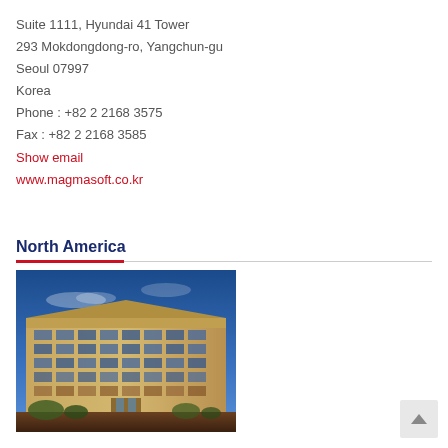Suite 1111, Hyundai 41 Tower
293 Mokdongdong-ro, Yangchun-gu
Seoul 07997
Korea
Phone : +82 2 2168 3575
Fax : +82 2 2168 3585
Show email
www.magmasoft.co.kr
North America
[Figure (photo): Exterior photo of a large multi-story office building with glass windows, light beige/tan facade, photographed at dusk with a blue sky.]